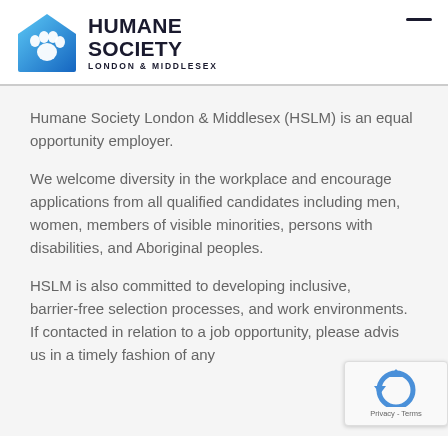[Figure (logo): Humane Society London & Middlesex logo with paw print icon in blue house shape]
Humane Society London & Middlesex (HSLM) is an equal opportunity employer.
We welcome diversity in the workplace and encourage applications from all qualified candidates including men, women, members of visible minorities, persons with disabilities, and Aboriginal peoples.
HSLM is also committed to developing inclusive, barrier-free selection processes, and work environments.  If contacted in relation to a job opportunity, please advise us in a timely fashion of any